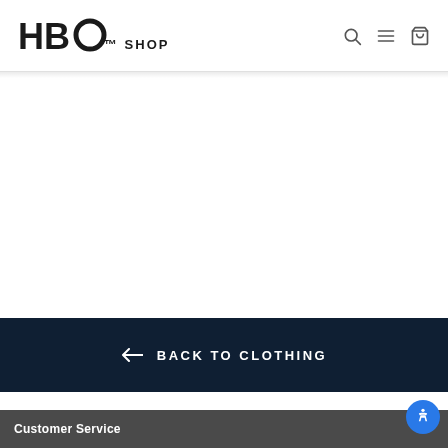HBO SHOP
BACK TO CLOTHING
Customer Service